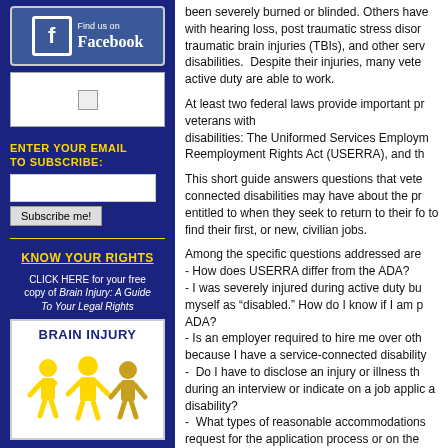[Figure (logo): Find us on Facebook button with Facebook logo and text]
[Figure (photo): Small image placeholder (broken/loading image)]
ENTER YOUR EMAIL TO SUBSCRIBE:
Subscribe me! button and email input field
KNOW YOUR RIGHTS
CLICK HERE for your free copy of Brain Injury: A Guide To Your Legal Rights
[Figure (illustration): Brain Injury logo with yellow paper-cut figures and BRAIN INJURY text in blue]
been severely burned or blinded. Others have with hearing loss, post traumatic stress disord traumatic brain injuries (TBIs), and other serv disabilities.  Despite their injuries, many vete active duty are able to work.
At least two federal laws provide important pr veterans with disabilities: The Uniformed Services Employm Reemployment Rights Act (USERRA), and th
This short guide answers questions that vete connected disabilities may have about the pr entitled to when they seek to return to their f to find their first, or new, civilian jobs.
Among the specific questions addressed are - How does USERRA differ from the ADA? - I was severely injured during active duty bu myself as “disabled.” How do I know if I am p ADA? - Is an employer required to hire me over oth because I have a service-connected disability -  Do I have to disclose an injury or illness th during an interview or indicate on a job applic a disability? -  What types of reasonable accommodations request for the application process or on the